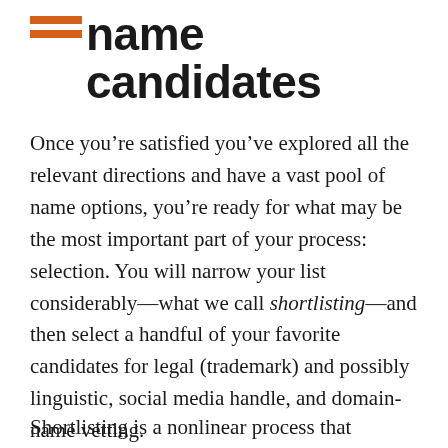name candidates
Once you’re satisfied you’ve explored all the relevant directions and have a vast pool of name options, you’re ready for what may be the most important part of your process: selection. You will narrow your list considerably—what we call shortlisting—and then select a handful of your favorite candidates for legal (trademark) and possibly linguistic, social media handle, and domain-name vetting.
Shortlisting is a nonlinear process that